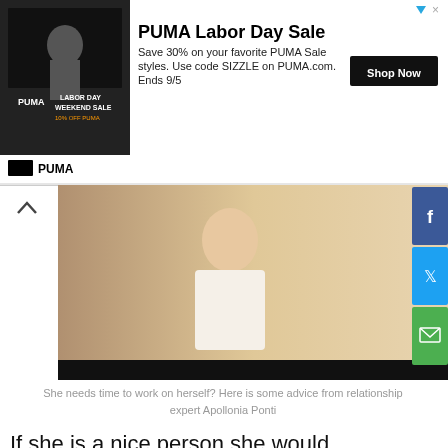[Figure (screenshot): PUMA Labor Day Sale advertisement banner with photo of athlete, PUMA logo, sale text, and Shop Now button]
[Figure (photo): Split image: woman in white dress on left, dark background with orange text 'Advice For Men' and 'Now:' on right, with social sharing buttons (Facebook, Twitter, Email)]
She needs time to work on herself? Here is some advice from relationship expert Apollonia Ponti
If she is a nice person she would appreciate things like that and she will be thankful. Even if she was considering leaving you forever, that could have changed her mind. In case you love her be sure that you let her know that, and that she is always welcome back. You got nothing to lose with that.